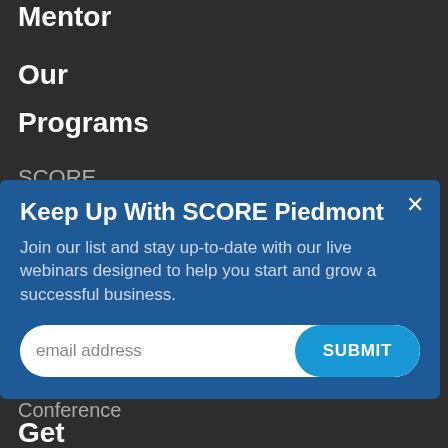Mentor
Our
Programs
SCORE
for All
Keep Up With SCORE Piedmont
Join our list and stay up-to-date with our live webinars designed to help you start and grow a successful business.
email address
SUBMIT
Virtual
Conference
Get